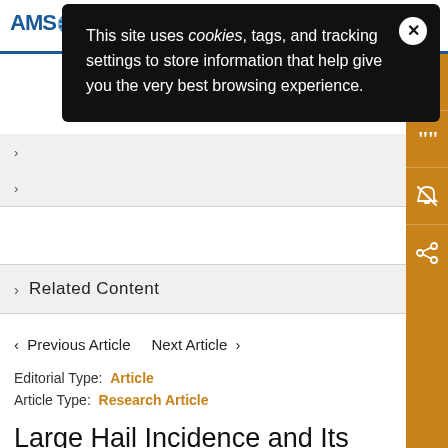[Figure (screenshot): AMS (American Meteorological Society) website header with logo and search icon]
This site uses cookies, tags, and tracking settings to store information that help give you the very best browsing experience.
Related Content
< Previous Article   Next Article >
Editorial Type: Article
Article Type: Research Article
Large Hail Incidence and Its Economic and Societal Impacts across Europe